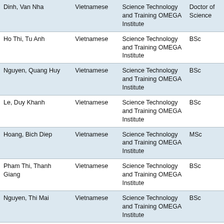| Name | Nationality | Organization | Qualification |
| --- | --- | --- | --- |
| Dinh, Van Nha | Vietnamese | Science Technology and Training OMEGA Institute | Doctor of Science |
| Ho Thi, Tu Anh | Vietnamese | Science Technology and Training OMEGA Institute | BSc |
| Nguyen, Quang Huy | Vietnamese | Science Technology and Training OMEGA Institute | BSc |
| Le, Duy Khanh | Vietnamese | Science Technology and Training OMEGA Institute | BSc |
| Hoang, Bich Diep | Vietnamese | Science Technology and Training OMEGA Institute | MSc |
| Pham Thi, Thanh Giang | Vietnamese | Science Technology and Training OMEGA Institute | BSc |
| Nguyen, Thi Mai | Vietnamese | Science Technology and Training OMEGA Institute | BSc |
| Bui Thi, Minh Thu | Vietnamese | Science Technology and Training OMEGA Institute | BSc |
| Le Thi, Hong Nhung | Vietnamese | Science Technology and Training OMEGA Institute | BSc |